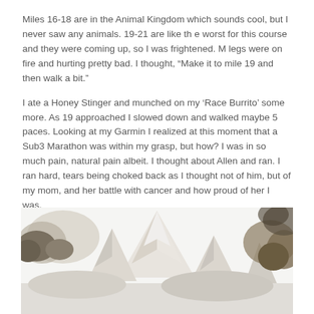Miles 16-18 are in the Animal Kingdom which sounds cool, but I never saw any animals. 19-21 are like the worst for this course and they were coming up, so I was frightened. M legs were on fire and hurting pretty bad. I thought, “Make it to mile 19 and then walk a bit.”
I ate a Honey Stinger and munched on my ‘Race Burrito’ some more. As 19 approached I slowed down and walked maybe 5 paces. Looking at my Garmin I realized at this moment that a Sub3 Marathon was within my grasp, but how? I was in so much pain, natural pain albeit. I thought about Allen and ran. I ran hard, tears being choked back as I thought not of him, but of my mom, and her battle with cancer and how proud of her I was.
[Figure (photo): Mountain landscape photo with snowy peaks and trees, partially cropped at bottom of page.]